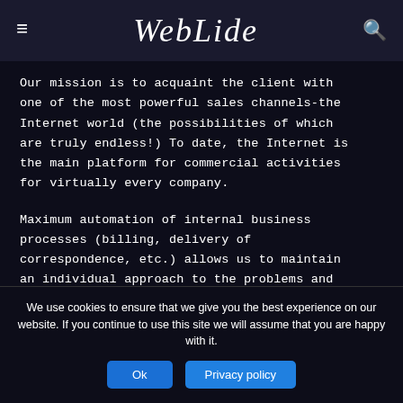WebLide
Our mission is to acquaint the client with one of the most powerful sales channels-the Internet world (the possibilities of which are truly endless!) To date, the Internet is the main platform for commercial activities for virtually every company.
Maximum automation of internal business processes (billing, delivery of correspondence, etc.) allows us to maintain an individual approach to the problems and
We use cookies to ensure that we give you the best experience on our website. If you continue to use this site we will assume that you are happy with it.